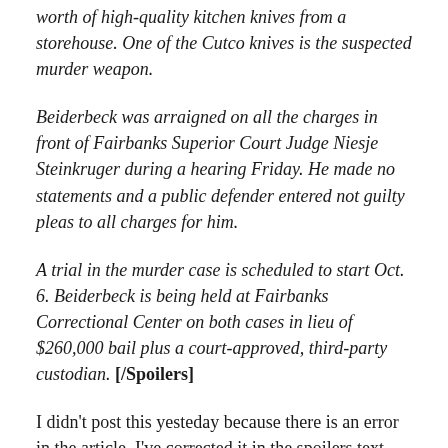worth of high-quality kitchen knives from a storehouse. One of the Cutco knives is the suspected murder weapon.
Beiderbeck was arraigned on all the charges in front of Fairbanks Superior Court Judge Niesje Steinkruger during a hearing Friday. He made no statements and a public defender entered not guilty pleas to all charges for him.
A trial in the murder case is scheduled to start Oct. 6. Beiderbeck is being held at Fairbanks Correctional Center on both cases in lieu of $260,000 bail plus a court-approved, third-party custodian. [/Spoilers]
I didn’t post this yesteday because there is an error in the article. I’ve corrected it in the spoilers text above, and sent the author an email about it. As before, you can read the spoilers text, or follow